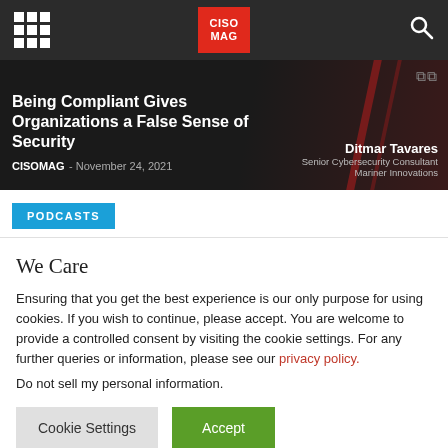CISO MAG
[Figure (screenshot): Hero image with dark background showing article title, author Ditmar Tavares, Senior Cybersecurity Consultant, Mariner Innovations]
Being Compliant Gives Organizations a False Sense of Security
CISOMAG - November 24, 2021
PODCASTS
We Care
Ensuring that you get the best experience is our only purpose for using cookies. If you wish to continue, please accept. You are welcome to provide a controlled consent by visiting the cookie settings. For any further queries or information, please see our privacy policy.
Do not sell my personal information.
Cookie Settings   Accept